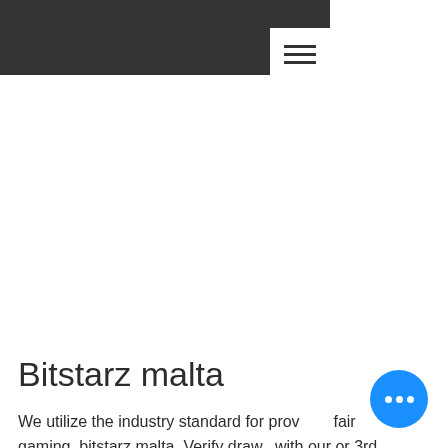Bitstarz malta
We utilize the industry standard for provably fair gaming, bitstarz malta. Verify draws with our or 3rd party verification tools. Get your winnings paid out to your wallet on your...